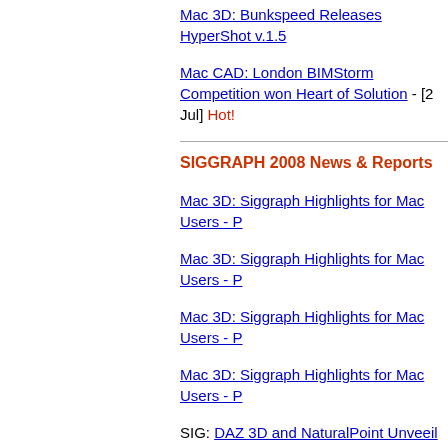Mac 3D: Bunkspeed Releases HyperShot v.1.5
Mac CAD: London BIMStorm Competition won Heart of Solution - [2 Jul] Hot!
SIGGRAPH 2008 News & Reports
Mac 3D: Siggraph Highlights for Mac Users - P
Mac 3D: Siggraph Highlights for Mac Users - P
Mac 3D: Siggraph Highlights for Mac Users - P
Mac 3D: Siggraph Highlights for Mac Users - P
SIG: DAZ 3D and NaturalPoint Unveil ARENA R Studio - [21 Aug]
SIG: SynthEyes Tackles 8-core Mac Pros at Sig
SIG: Nvidia's Siggraph Announcements - Roun
SIGGRAPH Feature: Architosh Talks to Robert more... - [15 Aug] Hot!
SIG: Luxology's modo rendering engine license Aug]